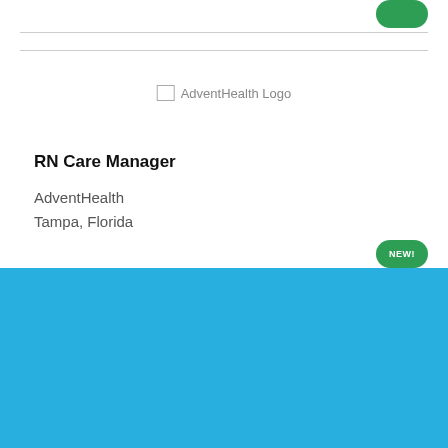[Figure (logo): AdventHealth Logo placeholder image with broken image icon and alt text]
RN Care Manager
AdventHealth
Tampa, Florida
Cookie Settings   Got it

We use cookies so that we can remember you and understand how you use our site. If you do not agree with our use of cookies, please change the current settings found in our Cookie Policy. Otherwise, you agree to the use of the cookies as they are currently set.